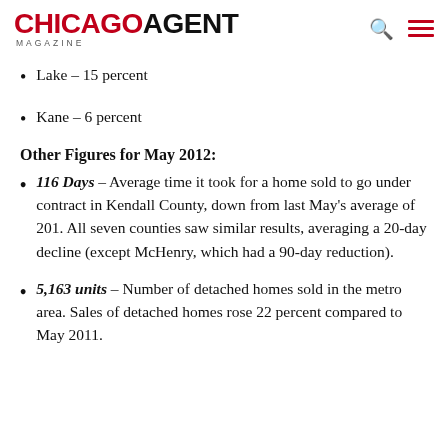CHICAGO AGENT MAGAZINE
Lake – 15 percent
Kane – 6 percent
Other Figures for May 2012:
116 Days – Average time it took for a home sold to go under contract in Kendall County, down from last May's average of 201. All seven counties saw similar results, averaging a 20-day decline (except McHenry, which had a 90-day reduction).
5,163 units – Number of detached homes sold in the metro area. Sales of detached homes rose 22 percent compared to May 2011.